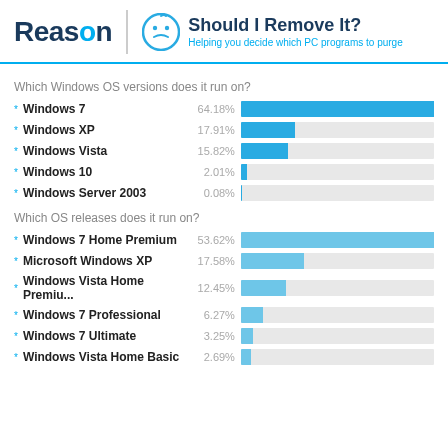[Figure (logo): Reason Software logo with 'Should I Remove It?' branding and smiley face icon]
Which Windows OS versions does it run on?
[Figure (bar-chart): Which Windows OS versions does it run on?]
Which OS releases does it run on?
[Figure (bar-chart): Which OS releases does it run on?]